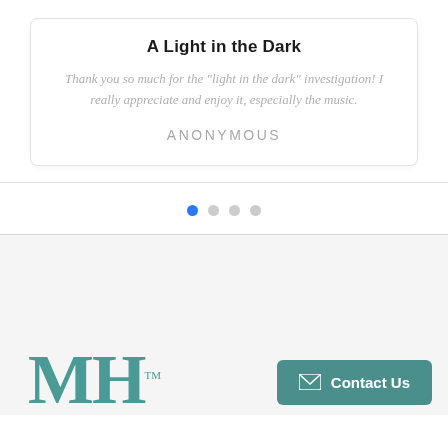A Light in the Dark
Thank you so much for the "light in the dark" investigation! I really appreciate and enjoy it, especially the music.
ANONYMOUS
[Figure (infographic): Carousel pagination dots: one blue filled dot followed by three grey filled dots]
[Figure (logo): MH logo in teal/dark cyan serif letters with TM mark]
Contact Us